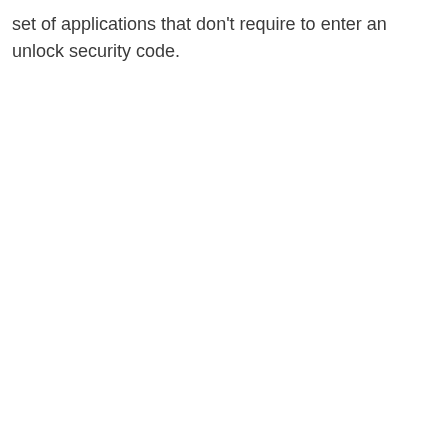set of applications that don't require to enter an unlock security code.